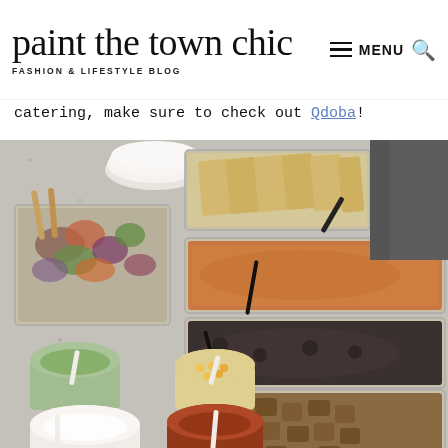paint the town chic — FASHION & LIFESTYLE BLOG — MENU
catering, make sure to check out Qdoba!
[Figure (photo): A catering spread laid out on a granite countertop featuring multiple aluminum foil trays with grilled vegetables/fajita mix, rice, black beans, grilled chicken, tortillas/chips, and small cups of salsas, corn salsa, sour cream, and guacamole — Qdoba catering setup.]